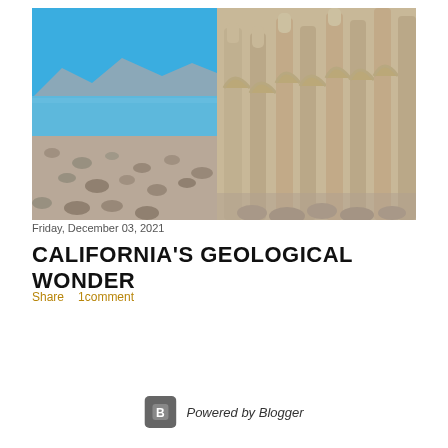[Figure (photo): Geological rock formations (tufa columns) at Mono Lake, California with blue sky, mountains, and water in the background]
Friday, December 03, 2021
CALIFORNIA'S GEOLOGICAL WONDER
Share   1comment
Powered by Blogger